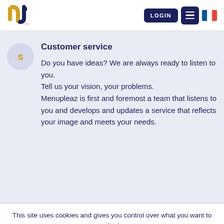[Figure (logo): Menupleaz logo - stylized NJ letters in gold/dark navy]
[Figure (screenshot): LOGIN button (dark navy), hamburger menu button (dark navy), French flag icon]
Customer service
Do you have ideas? We are always ready to listen to you.
Tell us your vision, your problems.
Menupleaz is first and foremost a team that listens to you and develops and updates a service that reflects your image and meets your needs.
This site uses cookies and gives you control over what you want to activate
✓ OK, accept all